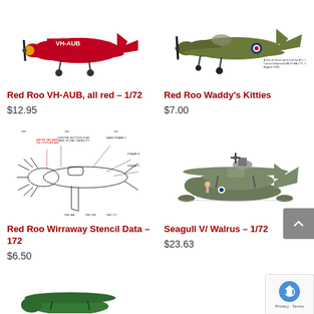[Figure (illustration): Red monoplane with VH-AUB markings, partially cropped at top]
[Figure (illustration): Military aircraft (Kitty Hawk) with green/grey camouflage, partially cropped at top]
Red Roo VH-AUB, all red – 1/72
$12.95
Red Roo Waddy's Kitties
$7.00
[Figure (engineering-diagram): Technical cutaway/stencil diagram of a Wirraway aircraft]
[Figure (illustration): Seagull V / Walrus flying boat, grey/green colours, side view]
Red Roo Wirraway Stencil Data – 172
$6.50
Seagull V/ Walrus – 1/72
$23.63
[Figure (illustration): Green biplane partially visible at bottom of page]